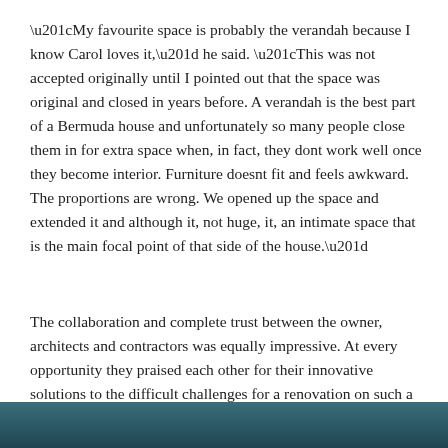“My favourite space is probably the verandah because I know Carol loves it,” he said. “This was not accepted originally until I pointed out that the space was original and closed in years before. A verandah is the best part of a Bermuda house and unfortunately so many people close them in for extra space when, in fact, they dont work well once they become interior. Furniture doesnt fit and feels awkward. The proportions are wrong. We opened up the space and extended it and although it, not huge, it, an intimate space that is the main focal point of that side of the house.”
The collaboration and complete trust between the owner, architects and contractors was equally impressive. At every opportunity they praised each other for their innovative solutions to the difficult challenges for a renovation on such a unique site.
[Figure (photo): Bottom strip of a photo showing a teal/dark blue-green background, likely an outdoor scene or architectural feature.]